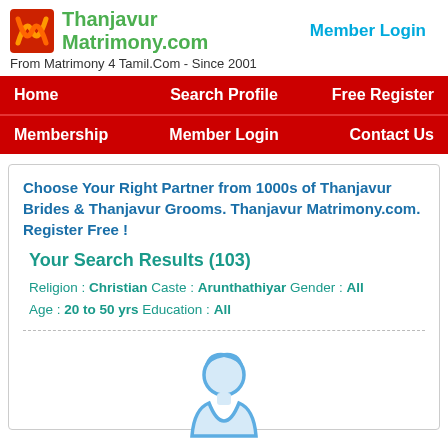[Figure (logo): ThanjavurMatrimony.com logo with red and orange icon and green text]
Member Login
From Matrimony 4 Tamil.Com - Since 2001
Home   Search Profile   Free Register   Membership   Member Login   Contact Us
Choose Your Right Partner from 1000s of Thanjavur Brides & Thanjavur Grooms. Thanjavur Matrimony.com. Register Free !
Your Search Results (103)
Religion : Christian Caste : Arunthathiyar Gender : All Age : 20 to 50 yrs Education : All
[Figure (illustration): Generic male silhouette/avatar icon in light blue outline style]